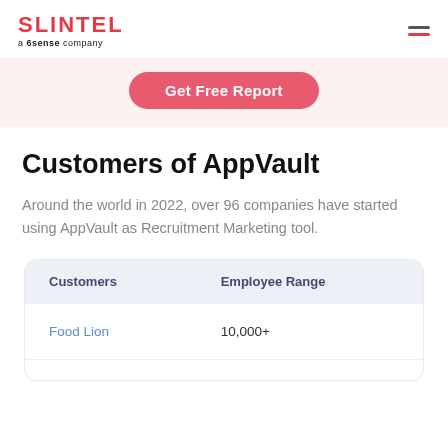SLINTEL a 6sense company
[Figure (other): Get Free Report button on pink/light red background]
Customers of AppVault
Around the world in 2022, over 96 companies have started using AppVault as Recruitment Marketing tool.
| Customers | Employee Range |
| --- | --- |
| Food Lion | 10,000+ |